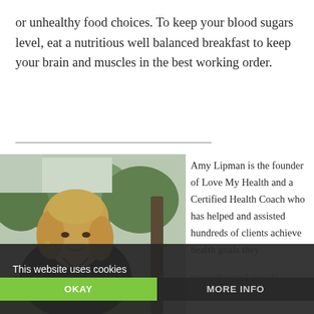or unhealthy food choices. To keep your blood sugars level, eat a nutritious well balanced breakfast to keep your brain and muscles in the best working order.
[Figure (photo): Portrait photo of Amy Lipman, a woman with blonde shoulder-length hair wearing a black top, outdoors with trees in the background]
Amy Lipman is the founder of Love My Health and a Certified Health Coach who has helped and assisted hundreds of clients achieve health goals they never dreamed possibl…
This website uses cookies
OKAY
MORE INFO